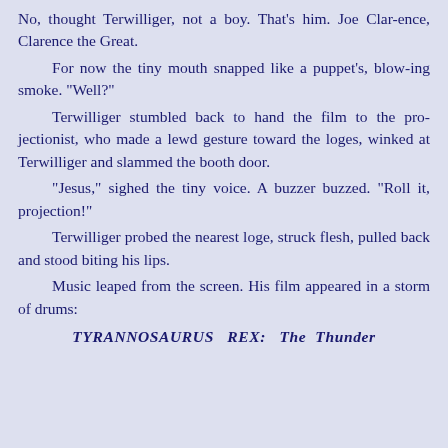No, thought Terwilliger, not a boy. That's him. Joe Clar-ence, Clarence the Great.
For now the tiny mouth snapped like a puppet's, blow-ing smoke. "Well?"
Terwilliger stumbled back to hand the film to the pro-jectionist, who made a lewd gesture toward the loges, winked at Terwilliger and slammed the booth door.
"Jesus," sighed the tiny voice. A buzzer buzzed. "Roll it, projection!"
Terwilliger probed the nearest loge, struck flesh, pulled back and stood biting his lips.
Music leaped from the screen. His film appeared in a storm of drums:
TYRANNOSAURUS REX: The Thunder